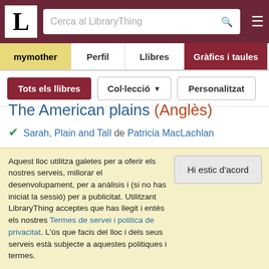LibraryThing — Cerca al LibraryThing
mymother | Perfil | Llibres | Gràfics i taules | Ressenyes
Tots els llibres | Col·lecció | Personalitzat
The American plains (Anglès)
Sarah, Plain and Tall de Patricia MacLachlan
American South (Anglès)
The Secret of the Lost Tunnel (Hardy Boys, Book 29) de
Aquest lloc utilitza galetes per a oferir els nostres serveis, millorar el desenvolupament, per a anàlisis i (si no has iniciat la sessió) per a publicitat. Utilitzant LibraryThing acceptes que has llegit i entès els nostres Termes de servei i politica de privacitat. L'ús que facis del lloc i dels seus serveis està subjecte a aquestes politiques i termes.